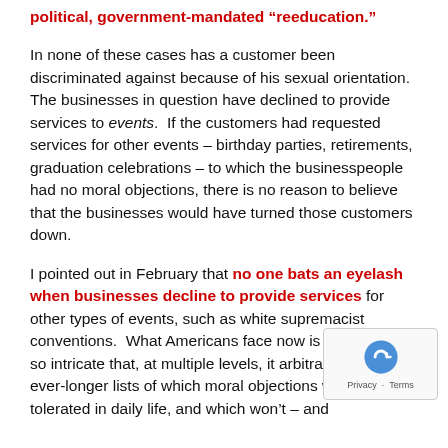political, government-mandated “reeducation.”
In none of these cases has a customer been discriminated against because of his sexual orientation. The businesses in question have declined to provide services to events. If the customers had requested services for other events – birthday parties, retirements, graduation celebrations – to which the businesspeople had no moral objections, there is no reason to believe that the businesses would have turned those customers down.
I pointed out in February that no one bats an eyelash when businesses decline to provide services for other types of events, such as white supremacist conventions. What Americans face now is government so intricate that, at multiple levels, it arbitrarily specifies ever-longer lists of which moral objections will be tolerated in daily life, and which won’t – and